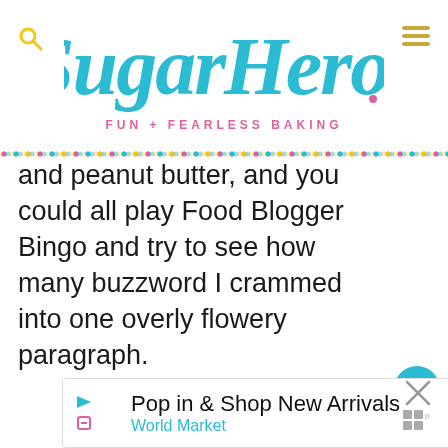SugarHero! Fun + Fearless Baking
and peanut butter, and you could all play Food Blogger Bingo and try to see how many buzzword I crammed into one overly flowery paragraph.
[Figure (infographic): Heart/like button showing 6.2K likes, and a share button]
[Figure (infographic): What's Next arrow with thumbnail of Peanut Butter Cup Banana... item]
[Figure (infographic): Advertisement banner: Pop in & Shop New Arrivals - World Market with navigation arrow icon]